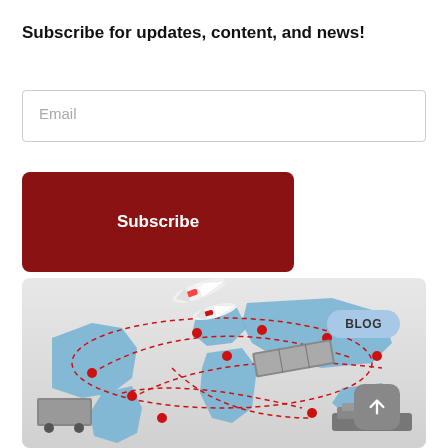Subscribe for updates, content, and news!
Email
Subscribe
[Figure (illustration): Global logistics illustration showing a world map with red dashed route lines connecting multiple locations, an airplane, shipping containers, and a truck, with a BLOG badge and back-to-top button overlay]